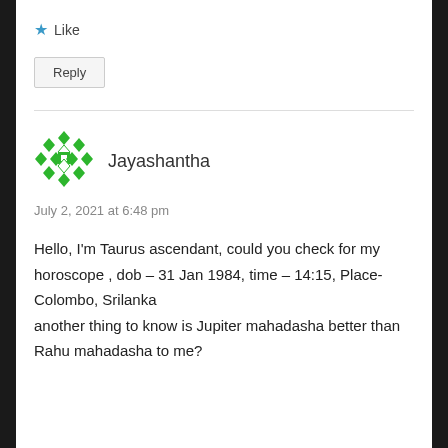★ Like
Reply
Jayashantha
July 2, 2021 at 6:48 pm
Hello, I'm Taurus ascendant, could you check for my horoscope , dob – 31 Jan 1984, time – 14:15, Place-Colombo, Srilanka
another thing to know is Jupiter mahadasha better than Rahu mahadasha to me?